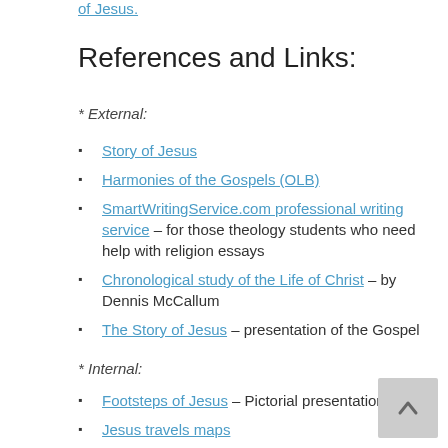of Jesus.
References and Links:
* External:
Story of Jesus
Harmonies of the Gospels (OLB)
SmartWritingService.com professional writing service – for those theology students who need help with religion essays
Chronological study of the Life of Christ – by Dennis McCallum
The Story of Jesus – presentation of the Gospel
* Internal:
Footsteps of Jesus – Pictorial presentation
Jesus travels maps